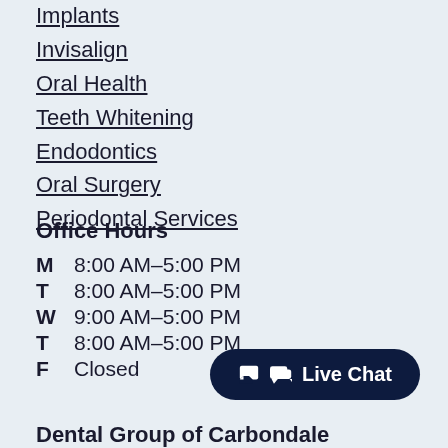Implants
Invisalign
Oral Health
Teeth Whitening
Endodontics
Oral Surgery
Periodontal Services
Office Hours
| Day | Hours |
| --- | --- |
| M | 8:00 AM–5:00 PM |
| T | 8:00 AM–5:00 PM |
| W | 9:00 AM–5:00 PM |
| T | 8:00 AM–5:00 PM |
| F | Closed |
Live Chat
Dental Group of Carbondale